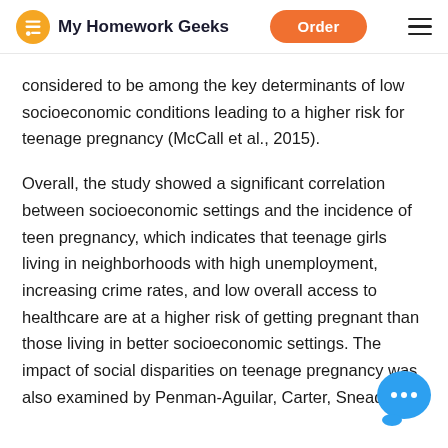My Homework Geeks | Order
considered to be among the key determinants of low socioeconomic conditions leading to a higher risk for teenage pregnancy (McCall et al., 2015).
Overall, the study showed a significant correlation between socioeconomic settings and the incidence of teen pregnancy, which indicates that teenage girls living in neighborhoods with high unemployment, increasing crime rates, and low overall access to healthcare are at a higher risk of getting pregnant than those living in better socioeconomic settings. The impact of social disparities on teenage pregnancy was also examined by Penman-Aguilar, Carter, Snead, and